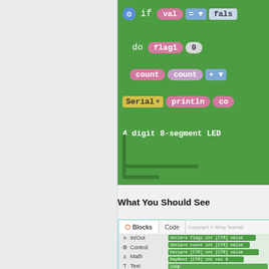[Figure (screenshot): Mixly/Scratch block programming interface showing an if-do block with val=false condition, flag1=0 assignment, count increment, Serial println, and 4 digit 8-segment LED text. Green background with pink/blue/yellow blocks.]
What You Should See
[Figure (screenshot): Mixly IDE screenshot showing Blocks panel on left with In/Out, Control, Math, Text, Lists, Logic, SerialPort menu items, and code/block view on right with green Arduino code blocks.]